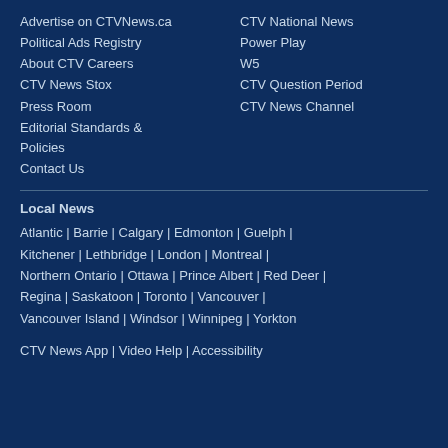Advertise on CTVNews.ca
Political Ads Registry
About CTV Careers
CTV News Stox
Press Room
Editorial Standards & Policies
Contact Us
CTV National News
Power Play
W5
CTV Question Period
CTV News Channel
Local News
Atlantic | Barrie | Calgary | Edmonton | Guelph | Kitchener | Lethbridge | London | Montreal | Northern Ontario | Ottawa | Prince Albert | Red Deer | Regina | Saskatoon | Toronto | Vancouver | Vancouver Island | Windsor | Winnipeg | Yorkton
CTV News App | Video Help | Accessibility